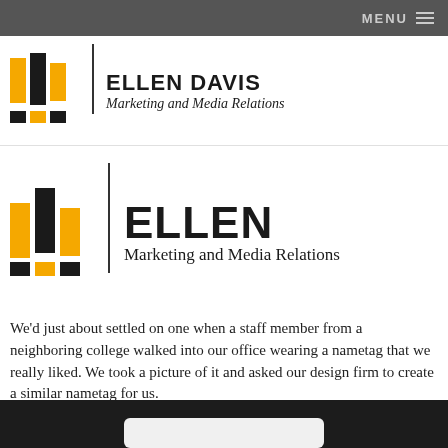MENU
[Figure (logo): Ellen Davis Marketing and Media Relations logo — bar chart icon in orange and black with vertical divider, partial/cropped at top]
[Figure (logo): ELLEN Marketing and Media Relations logo — bar chart icon in orange and black with vertical divider]
We'd just about settled on one when a staff member from a neighboring college walked into our office wearing a nametag that we really liked. We took a picture of it and asked our design firm to create a similar nametag for us.
[Figure (photo): Bottom portion of a photograph showing a nametag card against a dark background, partially cropped]